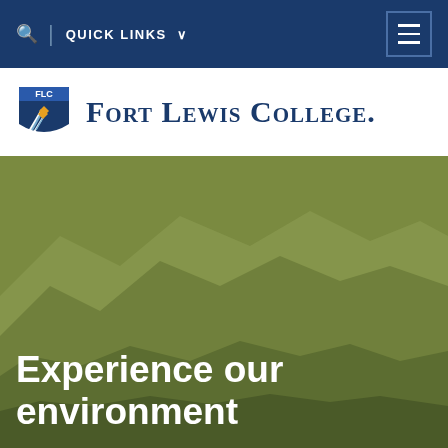QUICK LINKS
[Figure (logo): Fort Lewis College logo with FLC shield and college name]
[Figure (illustration): Mountain range silhouette hero image in olive/khaki green tones]
Experience our environment